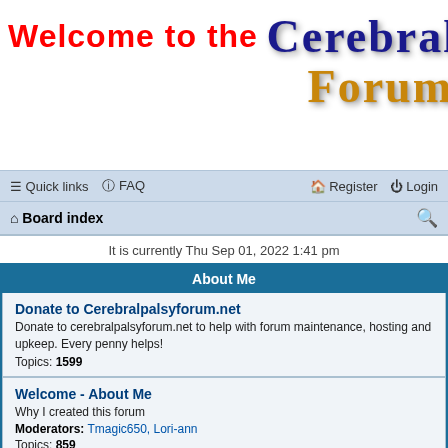[Figure (illustration): Forum banner with 'Welcome to the' in red handwritten font and 'Cerebral Forum' in blue/gold serif font with drop shadow]
≡ Quick links  ? FAQ    Register  Login
⌂ Board index
It is currently Thu Sep 01, 2022 1:41 pm
About Me
Donate to Cerebralpalsyforum.net
Donate to cerebralpalsyforum.net to help with forum maintenance, hosting and upkeep. Every penny helps!
Topics: 1599
Welcome - About Me
Why I created this forum
Moderators: Tmagic650, Lori-ann
Topics: 859
Useful Links
Useful links to other Cerebral Palsy resources.
Moderators: Tmagic650, Lori-ann
Topics: 850
Follow Us On Twitter
Follow Cerebral Palsy Forum on Twitter
Topics: 89